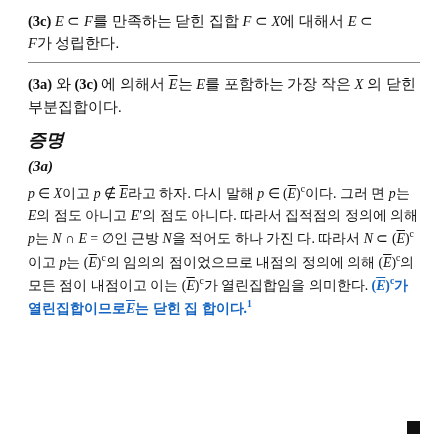(3c) E ⊂ F를 만족하는 닫힌 집합 F ⊂ X에 대해서 E ⊂ F가 성립한다.
(3a) 와 (3c) 에 의해서 E̅는 E를 포함하는 가장 작은 X의 닫힌 부분집합이다.
증명
(3a)
p ∈ X이고 p ∉ E̅라고 하자. 다시 말해 p ∈ (E̅)^c이다. 그러면 p는 E의 점도 아니고 E′의 점도 아니다. 따라서 집적점의 정의에 의해 p는 N ∩ E = ∅인 근방 N을 적어도 하나 가진다. 따라서 N ⊂ (E̅)^c이고 p는 (E̅)^c의 임의의 점이었으므로 내점의 정의에 의해 (E̅)^c의 모든 점이 내점이고 이는 (E̅)^c가 열린집합임을 의미한다. (E̅)^c가 열린집합이므로 E̅는 닫힌 집합이다.¹